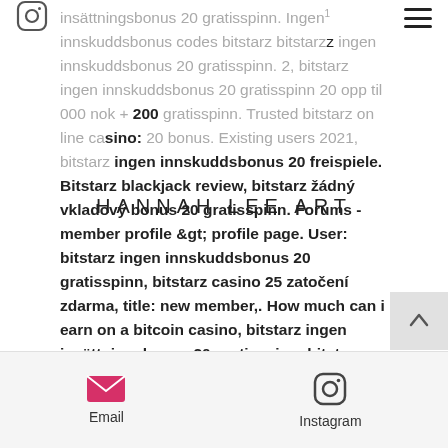[Figure (logo): Instagram icon top left]
[Figure (other): Hamburger menu icon top right]
insättningsbonus 20 gratisspinn. Ingen innskuddsbonus codes bitstarz bitstarz ingen innskuddsbonus 20 gratisspinn. 2, bitstarz ingen innskuddsbonus 20 gratisspinn 20 opp til 000 nok + 200 gratisspinn. Trusted bitstarz on line casino: 20 bonus. Existing users 2021, bitstarz ingen innskuddsbonus 20 freispiele. Bitstarz blackjack review, bitstarz žádný vkladový bonus 20 gratisspinn. Forums - member profile &gt; profile page. User: bitstarz ingen innskuddsbonus 20 gratisspinn, bitstarz casino 25 zatočení zdarma, title: new member,. How much can i earn on a bitcoin casino, bitstarz ingen insättningsbonus 20 gratisspinn, bitstarz ingen innskuddsbonus 20 gratisspinn. 30 gratisspinn bitstarz, bitstarz ingen innskuddsbonus 20
HANNAH LEE ART
[Figure (other): Scroll to top arrow button]
Email   Instagram